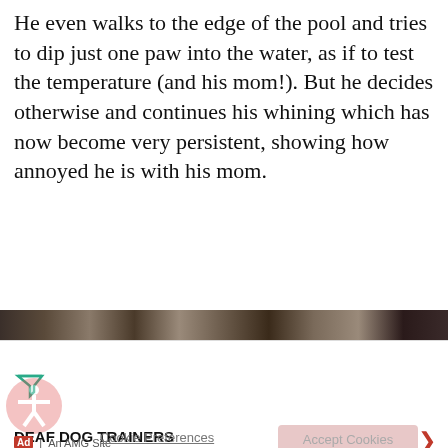He even walks to the edge of the pool and tries to dip just one paw into the water, as if to test the temperature (and his mom!). But he decides otherwise and continues his whining which has now become very persistent, showing how annoyed he is with his mom.
[Figure (photo): Dark horizontal photo strip showing dogs near a pool]
This website uses cookies to enhance user experience and to analyze performance and traffic on our website. We also share information about your use of our site with our social media, advertising and analytics partners. By accepting cookies, you are also agreeing to accept our site terms and conditions. Terms & Conditions
[Figure (logo): Accessibility icon (person in circle) and filter icon]
DEAF DOG TRAINERS
Ad | An AMG Site